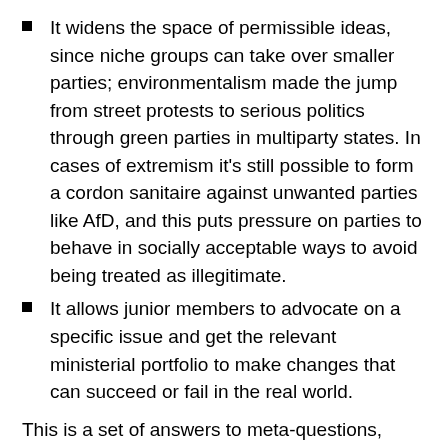It widens the space of permissible ideas, since niche groups can take over smaller parties; environmentalism made the jump from street protests to serious politics through green parties in multiparty states. In cases of extremism it's still possible to form a cordon sanitaire against unwanted parties like AfD, and this puts pressure on parties to behave in socially acceptable ways to avoid being treated as illegitimate.
It allows junior members to advocate on a specific issue and get the relevant ministerial portfolio to make changes that can succeed or fail in the real world.
This is a set of answers to meta-questions, much more so than to object-level questions. As always, there is interaction between answers: if political parties are the vessel that mediates between individual voters and the state, then the polity size must be large enough to